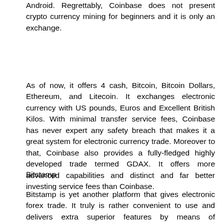Android. Regrettably, Coinbase does not present crypto currency mining for beginners and it is only an exchange.
As of now, it offers 4 cash, Bitcoin, Bitcoin Dollars, Ethereum, and Litecoin. It exchanges electronic currency with US pounds, Euros and Excellent British Kilos. With minimal transfer service fees, Coinbase has never expert any safety breach that makes it a great system for electronic currency trade. Moreover to that, Coinbase also provides a fully-fledged highly developed trade termed GDAX. It offers more advanced capabilities and distinct and far better investing service fees than Coinbase.
Bitstamp
Bitstamp is yet another platform that gives electronic forex trade. It truly is rather convenient to use and delivers extra superior features by means of TradeView